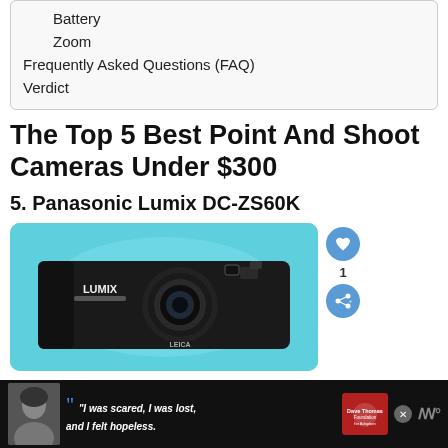Battery
Zoom
Frequently Asked Questions (FAQ)
Verdict
The Top 5 Best Point And Shoot Cameras Under $300
5. Panasonic Lumix DC-ZS60K
[Figure (photo): Photo of a black Panasonic Lumix DC-ZS60K point-and-shoot camera with Leica lens, displayed against a cyan/light blue background.]
[Figure (infographic): Advertisement banner at the bottom: black background, photo of a person, quote 'I was scared, I was lost, and I felt hopeless.', Dave Thomas Foundation for Adoption logo, and a W logo on the right.]